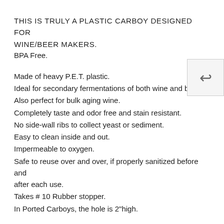THIS IS TRULY A PLASTIC CARBOY DESIGNED FOR WINE/BEER MAKERS.
BPA Free.
Made of heavy P.E.T. plastic.
Ideal for secondary fermentations of both wine and beer.
Also perfect for bulk aging wine.
Completely taste and odor free and stain resistant.
No side-wall ribs to collect yeast or sediment.
Easy to clean inside and out.
Impermeable to oxygen.
Safe to reuse over and over, if properly sanitized before and after each use.
Takes # 10 Rubber stopper.
In Ported Carboys, the hole is 2"high.